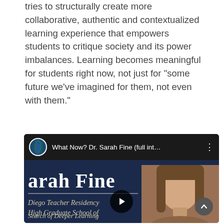tries to structurally create more collaborative, authentic and contextualized learning experience that empowers students to critique society and its power imbalances. Learning becomes meaningful for students right now, not just for "some future we've imagined for them, not even with them."
[Figure (screenshot): Embedded YouTube video thumbnail showing 'What Now? Dr. Sarah Fine (full int...' with a channel globe icon, dark top bar, and video content showing text 'arah Fine', 'Diego Teacher Residency', 'High Graduate School of', 'Search of Deeper Learning', and a partial photo of a woman with long brown hair on a dark navy background. A play button is visible in the center-bottom and a scroll-up chevron button at bottom right.]